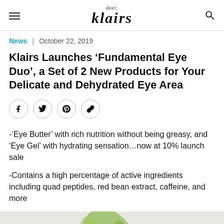dear, klairs
News | October 22, 2019
Klairs Launches ‘Fundamental Eye Duo’, a Set of 2 New Products for Your Delicate and Dehydrated Eye Area
[Figure (other): Social share icons: Facebook, Twitter, Pinterest, Link]
-‘Eye Butter’ with rich nutrition without being greasy, and ‘Eye Gel’ with hydrating sensation…now at 10% launch sale
-Contains a high percentage of active ingredients including quad peptides, red bean extract, caffeine, and more
[Figure (photo): Partial image of a green plant/leaf on a light grey background]